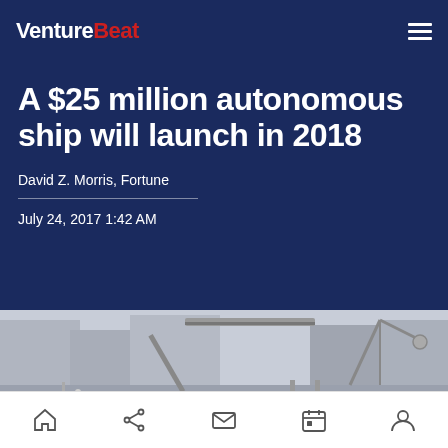VentureBeat
A $25 million autonomous ship will launch in 2018
David Z. Morris, Fortune
July 24, 2017 1:42 AM
[Figure (illustration): 3D rendering of an autonomous ship/vessel with industrial equipment, cranes, and containers on a dock]
Navigation bar with home, share, mail, calendar, and profile icons